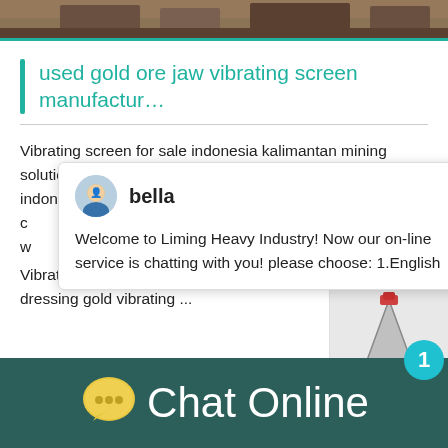[Figure (photo): Top image strip showing industrial mining equipment/machinery scene]
used gold ore jaw vibrating screen manufactur…
Vibrating screen for sale indonesia kalimantan mining solution tin ore mining process in indonesiatin ore mining indonesia is r... c... w... Vibrating screen small vibrating screen , Popu... dressing gold vibrating ...
[Figure (screenshot): Chat popup with avatar 'bella' and message: Welcome to Liming Heavy Industry! Now our on-line service is chatting with you! please choose: 1.English]
Processingmaterial:Bentonite,construction wa... Stone,coal
Capacity:155T/H
[Figure (screenshot): Right side widget showing industrial machine image with number badge '1' and 'Click me to chat>>' button]
Chat Online